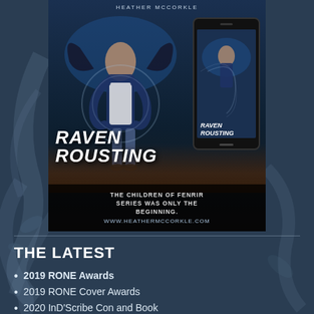[Figure (illustration): Book cover advertisement for 'Raven Rousting' by Heather McCorkle, showing a dark fantasy book cover with a young woman, a large raven, and a phone mockup showing the ebook version. Tagline reads: 'The Children of Fenrir series was only the beginning.' with website www.heathermccorkle.com]
THE LATEST
2019 RONE Awards
2019 RONE Cover Awards
2020 InD'Scribe Con and Book Festival